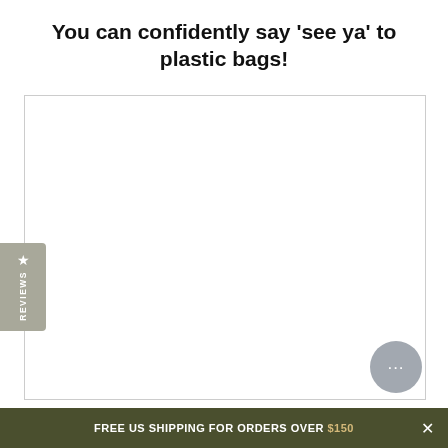You can confidently say 'see ya' to plastic bags!
[Figure (other): Large white/blank product image area with border]
★ REVIEWS
… (chat button)
FREE US SHIPPING FOR ORDERS OVER $150 ×